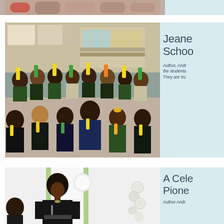[Figure (photo): Partial view of a group photo at top of page, cropped]
[Figure (photo): Elementary school students sitting in a classroom holding up bookmarks or name tags, smiling at camera]
Jeane School
Author, Andr the students They are tru
[Figure (photo): A woman in a black dress speaking at a podium or event with white and green draping in background]
A Cele Pione
Author Andr